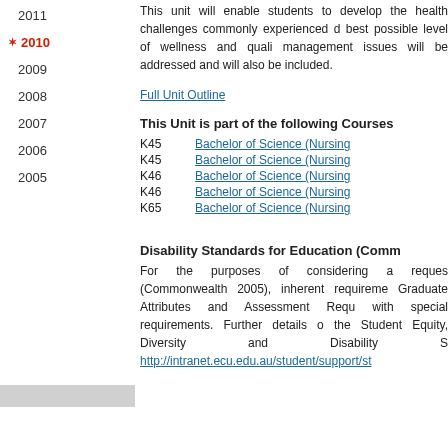2011
2010 (active/selected)
2009
2008
2007
2006
2005
This unit will enable students to develop the health challenges commonly experienced d best possible level of wellness and quali management issues will be addressed and will also be included.
Full Unit Outline
This Unit is part of the following Courses
K45  Bachelor of Science (Nursing
K45  Bachelor of Science (Nursing
K46  Bachelor of Science (Nursing
K46  Bachelor of Science (Nursing
K65  Bachelor of Science (Nursing
Disability Standards for Education (Comm
For the purposes of considering a reques (Commonwealth 2005), inherent requireme Graduate Attributes and Assessment Requ with special requirements. Further details o the Student Equity, Diversity and Disability S http://intranet.ecu.edu.au/student/support/st